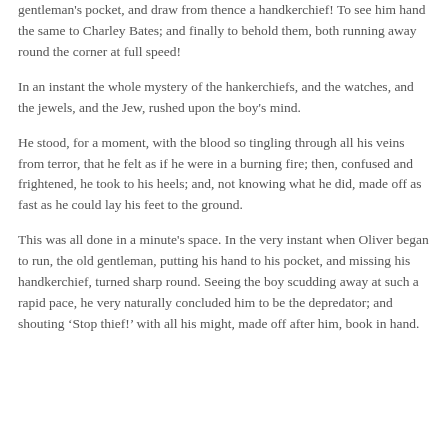gentleman's pocket, and draw from thence a handkerchief! To see him hand the same to Charley Bates; and finally to behold them, both running away round the corner at full speed!
In an instant the whole mystery of the hankerchiefs, and the watches, and the jewels, and the Jew, rushed upon the boy's mind.
He stood, for a moment, with the blood so tingling through all his veins from terror, that he felt as if he were in a burning fire; then, confused and frightened, he took to his heels; and, not knowing what he did, made off as fast as he could lay his feet to the ground.
This was all done in a minute's space. In the very instant when Oliver began to run, the old gentleman, putting his hand to his pocket, and missing his handkerchief, turned sharp round. Seeing the boy scudding away at such a rapid pace, he very naturally concluded him to be the depredator; and shouting ‘Stop thief!’ with all his might, made off after him, book in hand.